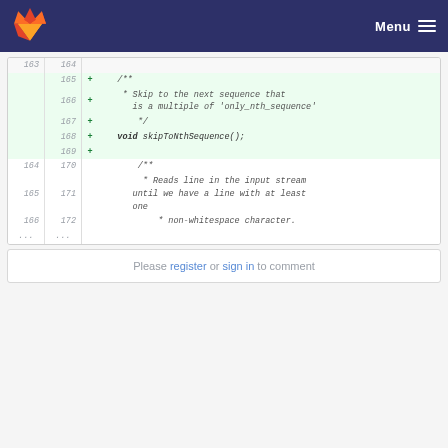GitLab — Menu
[Figure (screenshot): Code diff view showing lines 163-172 with added lines 165-169 (green background) containing a JSDoc comment for skipToNthSequence() and its function signature, followed by normal lines 164-166/170-172 with a JSDoc comment for reading lines from input stream]
Please register or sign in to comment